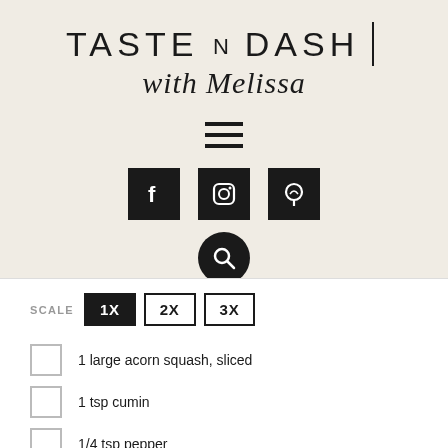TASTE N DASH | with Melissa
[Figure (infographic): Hamburger menu icon (three horizontal lines)]
[Figure (infographic): Social media icons: Facebook, Instagram, Pinterest (black square buttons), and a search button (black circle)]
SCALE 1X 2X 3X
1 large acorn squash, sliced
1 tsp cumin
1/4 tsp pepper